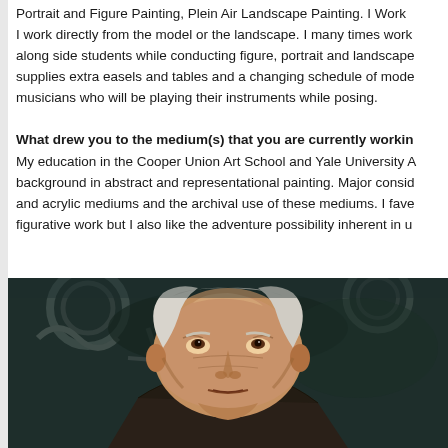Portrait and Figure Painting, Plein Air Landscape Painting. I Work I work directly from the model or the landscape. I many times work along side students while conducting figure, portrait and landscape supplies extra easels and tables and a changing schedule of mode musicians who will be playing their instruments while posing.
What drew you to the medium(s) that you are currently workin
My education in the Cooper Union Art School and Yale University A background in abstract and representational painting. Major consid and acrylic mediums and the archival use of these mediums. I fave figurative work but I also like the adventure possibility inherent in u
[Figure (photo): Oil painting portrait of an elderly man with white hair, looking upward, against a dark teal/dark background with industrial or mechanical elements visible. Painterly style with visible brushwork.]